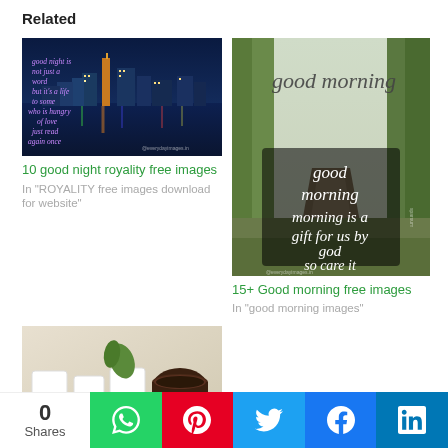Related
[Figure (photo): Night city skyline reflected on water with text overlay: good night is not just a word but it's a life to some who is hungry of love just read again once what I read]
10 good night royality free images
In "ROYALITY free images download for website"
[Figure (photo): Good morning image with forest path and text overlay: good morning morning is a gift for us by god so care it]
15+ Good morning free images
In "good morning images"
[Figure (photo): Good morning cups and coffee with script text Good morning]
0
Shares